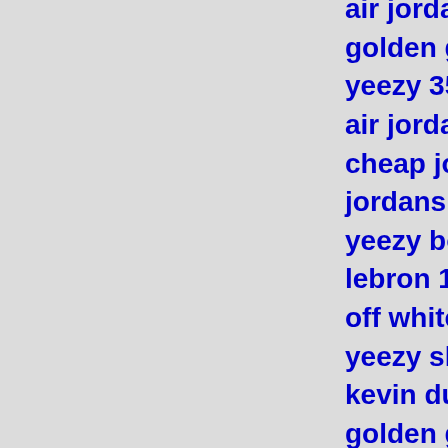air jordan
golden goose ou
yeezy 350
air jordan
cheap jordans
jordans
yeezy boost 350
lebron 16
off white
yeezy shoes
kevin durant sho
golden goose sh
jordan shoes
supreme
moncler jackets
kevin durant sho
yeezy
kawhi leonard sh
hermes
moncler
off white hoodie
curry shoes
air jordan